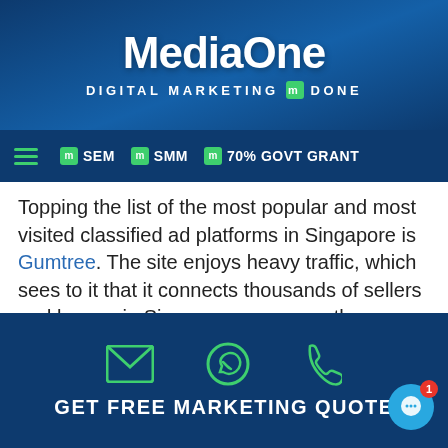MediaOne DIGITAL MARKETING DONE
SEM  SMM  70% GOVT GRANT
Topping the list of the most popular and most visited classified ad platforms in Singapore is Gumtree. The site enjoys heavy traffic, which sees to it that it connects thousands of sellers and buyers in Singapore every month.
As an international platform, Gumtree also serves a number of other countries besides Singapore, including Ireland, United Kingdom, New Zealand, South Africa, Hong Kong, and Poland to name a few.
GET FREE MARKETING QUOTE